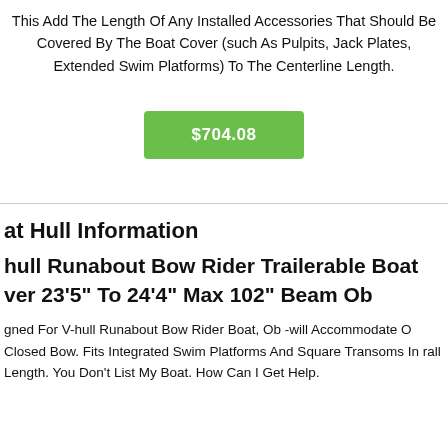This Add The Length Of Any Installed Accessories That Should Be Covered By The Boat Cover (such As Pulpits, Jack Plates, Extended Swim Platforms) To The Centerline Length.
[Figure (other): Green price button showing $704.08]
at Hull Information
hull Runabout Bow Rider Trailerable Boat ver 23'5" To 24'4" Max 102" Beam Ob
gned For V-hull Runabout Bow Rider Boat, Ob -will Accommodate O Closed Bow. Fits Integrated Swim Platforms And Square Transoms In rall Length. You Don't List My Boat. How Can I Get Help.